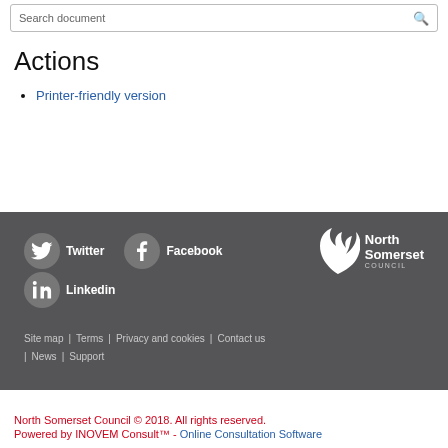Actions
Printer-friendly version
[Figure (logo): North Somerset Council logo with stylized bird/phoenix in white on dark grey background]
Twitter | Facebook | Linkedin | Site map | Terms | Privacy and cookies | Contact us | News | Support
North Somerset Council © 2018. All rights reserved. Powered by INOVEM Consult™ - Online Consultation Software